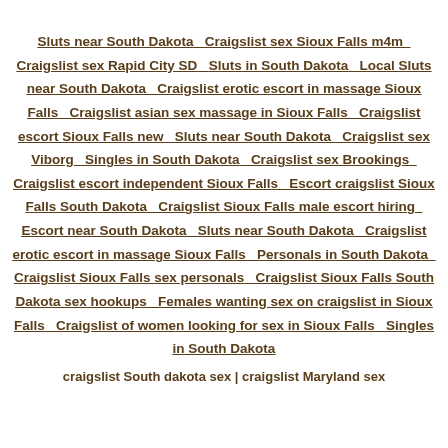Sluts near South Dakota  Craigslist sex Sioux Falls m4m  Craigslist sex Rapid City SD  Sluts in South Dakota  Local Sluts near South Dakota  Craigslist erotic escort in massage Sioux Falls  Craigslist asian sex massage in Sioux Falls  Craigslist escort Sioux Falls new  Sluts near South Dakota  Craigslist sex Viborg  Singles in South Dakota  Craigslist sex Brookings  Craigslist escort independent Sioux Falls  Escort craigslist Sioux Falls South Dakota  Craigslist Sioux Falls male escort hiring  Escort near South Dakota  Sluts near South Dakota  Craigslist erotic escort in massage Sioux Falls  Personals in South Dakota  Craigslist Sioux Falls sex personals  Craigslist Sioux Falls South Dakota sex hookups  Females wanting sex on craigslist in Sioux Falls  Craigslist of women looking for sex in Sioux Falls  Singles in South Dakota
craigslist South dakota sex | craigslist Maryland sex